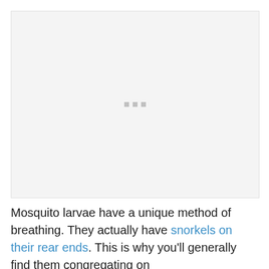[Figure (photo): A loading/placeholder image area with three small grey squares in the center, indicating an image that has not yet loaded.]
Mosquito larvae have a unique method of breathing. They actually have snorkels on their rear ends. This is why you'll generally find them congregating on